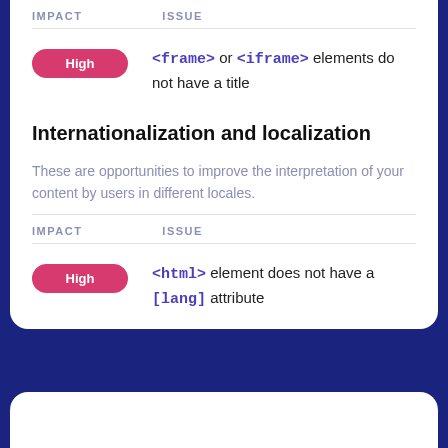| IMPACT | ISSUE |
| --- | --- |
| High | <frame> or <iframe> elements do not have a title |
Internationalization and localization
These are opportunities to improve the interpretation of your content by users in different locales.
| IMPACT | ISSUE |
| --- | --- |
| High | <html> element does not have a [lang] attribute |